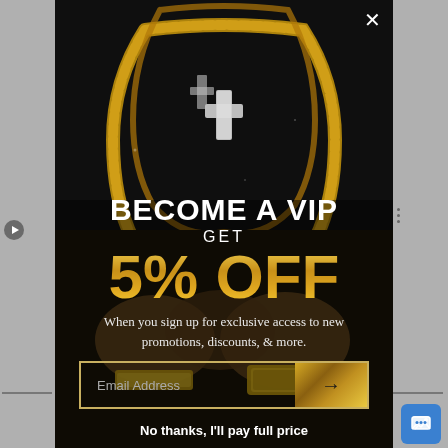[Figure (photo): Background photo of a person wearing gold chain necklaces with cross pendants, with hands clasped together wearing a gold watch/bracelet. Dark shirt background. Modal popup overlay on a jewelry/accessories website.]
BECOME A VIP
GET
5% OFF
When you sign up for exclusive access to new promotions, discounts, & more.
Email Address
No thanks, I'll pay full price